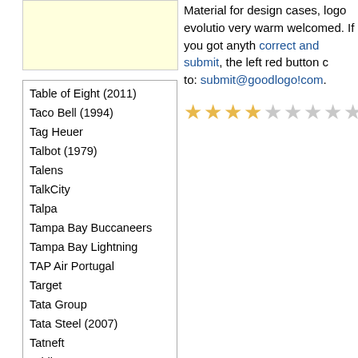[Figure (other): Yellow/cream colored box, likely a logo placeholder]
Material for design cases, logo evolution very warm welcomed. If you got anyth correct and submit, the left red button to: submit@goodlogo!com.
[Figure (other): Star rating display showing 3.3 out of 10 stars. Three and a half stars filled in gold, remainder in grey.]
Table of Eight (2011)
Taco Bell (1994)
Tag Heuer
Talbot (1979)
Talens
TalkCity
Talpa
Tampa Bay Buccaneers
Tampa Bay Lightning
TAP Air Portugal
Target
Tata Group
Tata Steel (2007)
Tatneft
Tchibo
Teak & Garden
Technicolor (2010)
Technics
Tegen Zinloos Geweld
Tele2
Telecom Italia
Telefonica
Telfort (1996)
Telfort (2000)